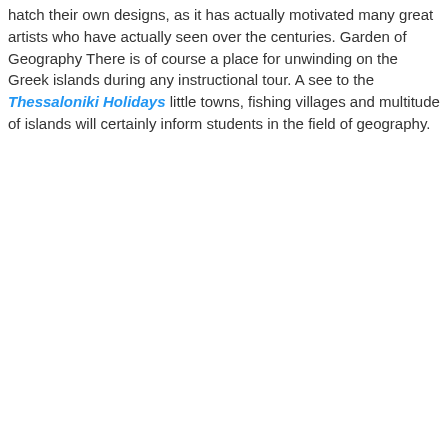hatch their own designs, as it has actually motivated many great artists who have actually seen over the centuries. Garden of Geography There is of course a place for unwinding on the Greek islands during any instructional tour. A see to the Thessaloniki Holidays little towns, fishing villages and multitude of islands will certainly inform students in the field of geography.